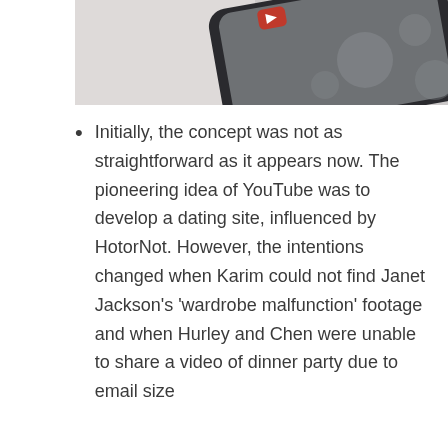[Figure (photo): Close-up photo of a smartphone corner showing app icons on screen, including a red YouTube-like icon, against a light background with blurred bokeh circles.]
Initially, the concept was not as straightforward as it appears now. The pioneering idea of YouTube was to develop a dating site, influenced by HotorNot. However, the intentions changed when Karim could not find Janet Jackson's 'wardrobe malfunction' footage and when Hurley and Chen were unable to share a video of dinner party due to email size